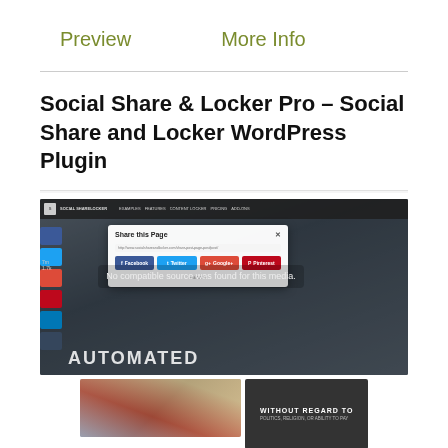Preview   More Info
Social Share & Locker Pro – Social Share and Locker WordPress Plugin
[Figure (screenshot): Screenshot of Social Share & Locker Pro WordPress plugin website showing a share modal popup with Facebook, Twitter, Google+, and Pinterest share buttons over a dark aviation-themed background with 'AUTOMATED' text. A second strip shows an airplane photo and a dark banner reading 'WITHOUT REGARD TO POLITICS, RELIGION, OR ABILITY TO PAY'.]